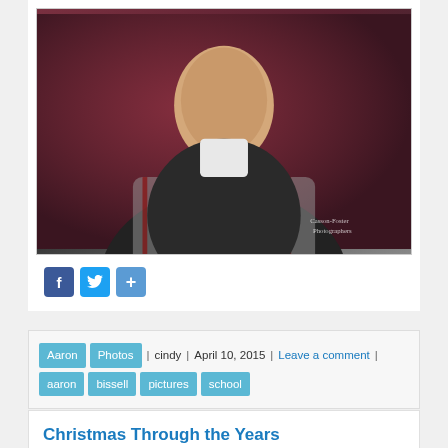[Figure (photo): School portrait photo of a young boy wearing a plaid shirt and dark vest against a dark red/maroon background. Watermark reads 'Casson-Foster Photographers' in bottom right.]
[Figure (infographic): Social sharing icons: Facebook (f), Twitter (bird), and Share (+) buttons in blue]
Aaron | Photos | cindy | April 10, 2015 | Leave a comment | aaron bissell pictures school
Christmas Through the Years